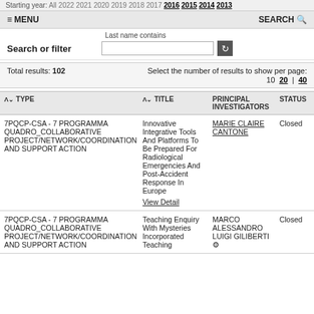Starting year: All 2022 2021 2020 2019 2018 2017 2016 2015 2014 2013
≡ MENU   SEARCH 🔍
Last name contains
Search or filter [input field] [refresh]
Total results: 102   Select the number of results to show per page: 10 | 20 | 40
| TYPE | TITLE | PRINCIPAL INVESTIGATORS | STATUS |
| --- | --- | --- | --- |
| 7PQCP-CSA - 7 PROGRAMMA QUADRO_COLLABORATIVE PROJECT/NETWORK/COORDINATION AND SUPPORT ACTION | Innovative Integrative Tools And Platforms To Be Prepared For Radiological Emergencies And Post-Accident Response In Europe
View Detail | MARIE CLAIRE CANTONE | Closed |
| 7PQCP-CSA - 7 PROGRAMMA QUADRO_COLLABORATIVE PROJECT/NETWORK/COORDINATION AND SUPPORT ACTION | Teaching Enquiry With Mysteries Incorporated Teaching | MARCO ALESSANDRO LUIGI GILIBERTI | Closed |